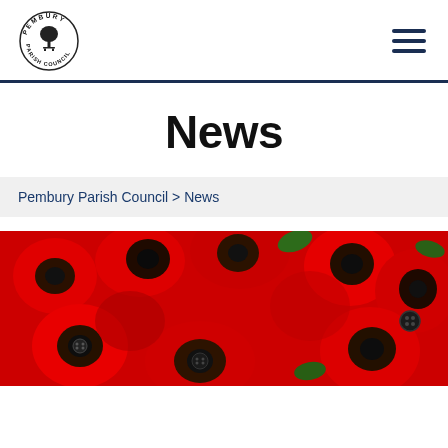Pembury Parish Council — logo and navigation
News
Pembury Parish Council > News
[Figure (photo): Close-up photograph of handmade crocheted red poppies with dark button centres, and some green accents, closely packed together.]